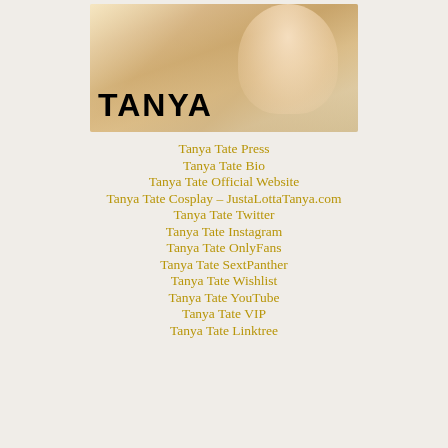[Figure (photo): Portrait photo of a blonde woman (Tanya Tate) with the bold text 'TANYA' overlaid in the lower left corner]
Tanya Tate Press
Tanya Tate Bio
Tanya Tate Official Website
Tanya Tate Cosplay – JustaLottaTanya.com
Tanya Tate Twitter
Tanya Tate Instagram
Tanya Tate OnlyFans
Tanya Tate SextPanther
Tanya Tate Wishlist
Tanya Tate YouTube
Tanya Tate VIP
Tanya Tate Linktree